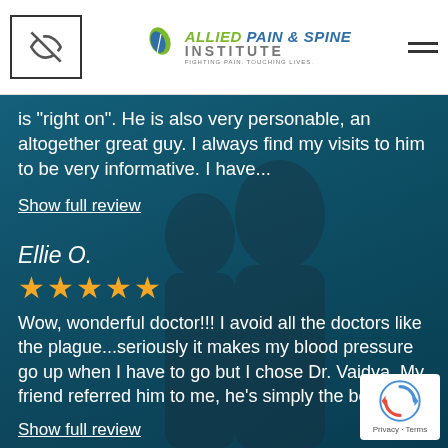[Figure (logo): Allied Pain & Spine Institute logo with feather/leaf icon and tagline 'Fighting Pain. Touching Lives.']
is "right on". He is also very personable, an altogether great guy. I always find my visits to him to be very informative. I have...
Show full review
Ellie O.
[Figure (other): 5 gold star rating]
Wow, wonderful doctor!!! I avoid all the doctors like the plague...seriously it makes my blood pressure go up when I have to go but I chose Dr. Vaidya. My friend referred him to me, he's simply the be...
Show full review
[Figure (other): reCAPTCHA badge with Privacy and Terms links]